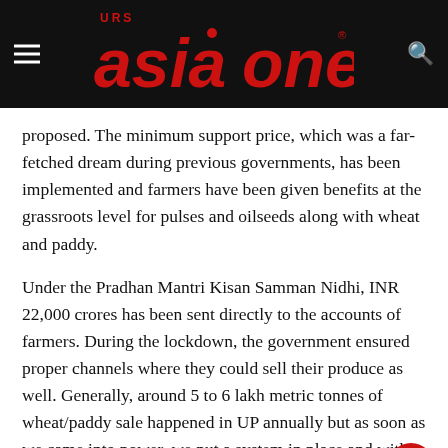URS Asia One
proposed. The minimum support price, which was a far-fetched dream during previous governments, has been implemented and farmers have been given benefits at the grassroots level for pulses and oilseeds along with wheat and paddy.
Under the Pradhan Mantri Kisan Samman Nidhi, INR 22,000 crores has been sent directly to the accounts of farmers. During the lockdown, the government ensured proper channels where they could sell their produce as well. Generally, around 5 to 6 lakh metric tonnes of wheat/paddy sale happened in UP annually but as soon as we came into power, we put a system in place and within 4 months there was a sale of 35 lakh